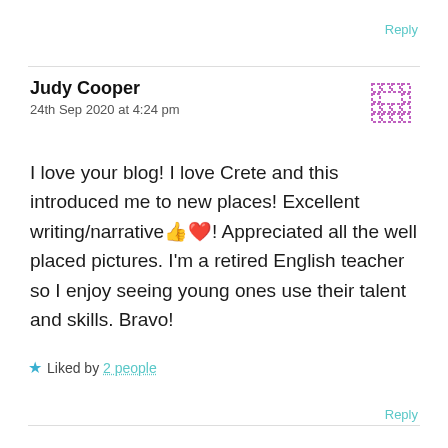Reply
Judy Cooper
24th Sep 2020 at 4:24 pm
I love your blog! I love Crete and this introduced me to new places! Excellent writing/narrative 👍❤️! Appreciated all the well placed pictures. I'm a retired English teacher so I enjoy seeing young ones use their talent and skills. Bravo!
★ Liked by 2 people
Reply